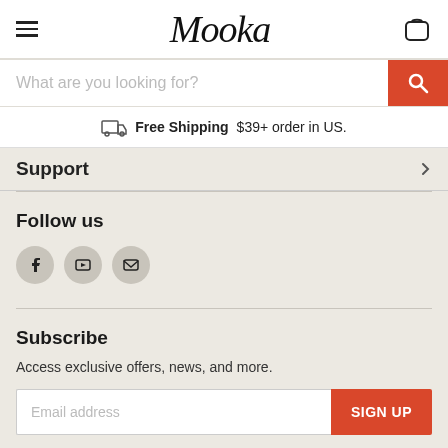Mooka
What are you looking for?
Free Shipping $39+ order in US.
Support
Follow us
Subscribe
Access exclusive offers, news, and more.
Email address
SIGN UP